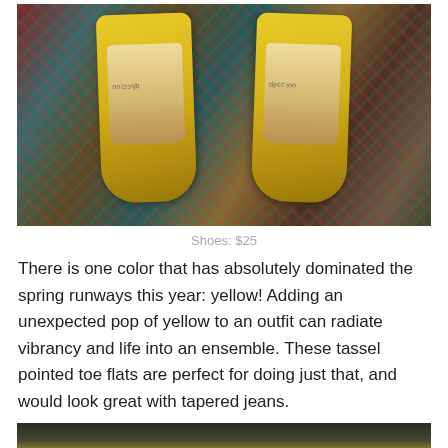[Figure (photo): Overhead view of a pair of yellow/mustard tassel pointed toe flat shoes with beige leather insoles showing a brand label, photographed on a colorful patterned rug/carpet.]
Shoes: $25
There is one color that has absolutely dominated the spring runways this year: yellow! Adding an unexpected pop of yellow to an outfit can radiate vibrancy and life into an ensemble. These tassel pointed toe flats are perfect for doing just that, and would look great with tapered jeans.
[Figure (photo): Bottom of page partial photo showing the top edge of another image with yellow color visible.]